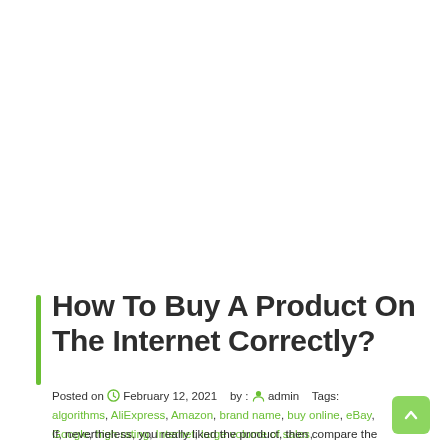How To Buy A Product On The Internet Correctly?
Posted on  February 12, 2021   by :  admin   Tags: algorithms, AliExpress, Amazon, brand name, buy online, eBay, Google, high rating, Internet, large volume of sales, manufacturer, Ozon, payment method, purchase, search engine, seller, SKU code, store, tracking number, Yandex
If, nevertheless, you really liked the product, then compare the